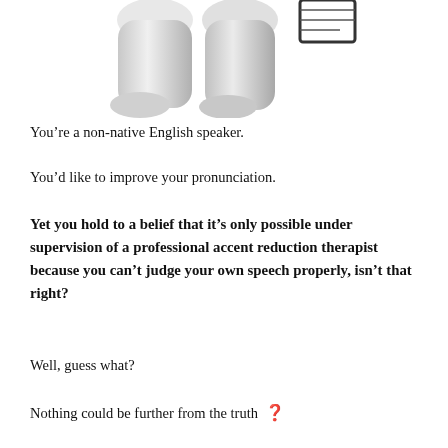[Figure (illustration): Lower half of a stylized 3D white figure (legs only visible), cropped at top of page]
You’re a non-native English speaker.
You’d like to improve your pronunciation.
Yet you hold to a belief that it’s only possible under supervision of a professional accent reduction therapist because you can’t judge your own speech properly, isn’t that right?
Well, guess what?
Nothing could be further from the truth ❗